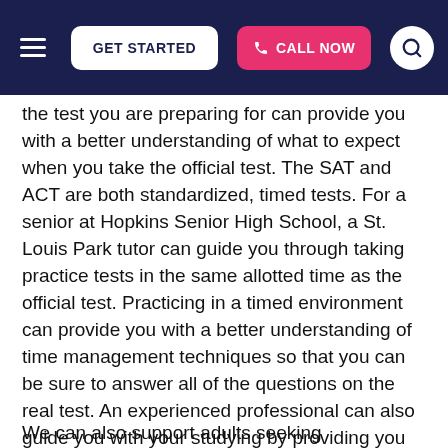GET STARTED | CALL NOW
the test you are preparing for can provide you with a better understanding of what to expect when you take the official test. The SAT and ACT are both standardized, timed tests. For a senior at Hopkins Senior High School, a St. Louis Park tutor can guide you through taking practice tests in the same allotted time as the official test. Practicing in a timed environment can provide you with a better understanding of time management techniques so that you can be sure to answer all of the questions on the real test. An experienced professional can also guide you with your studying by providing you with an idea of what subjects you will be questioned on, allowing you to spend more study time on important subjects.
We can also support adults seeking professional